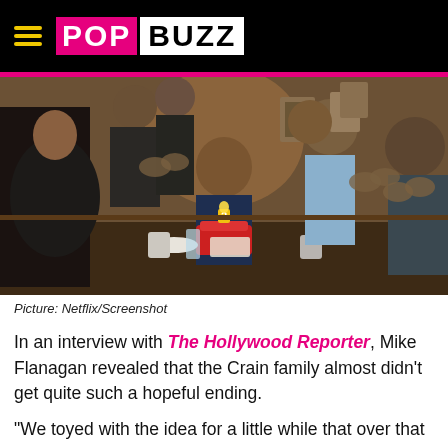POP BUZZ
[Figure (screenshot): A group of people sitting around a dinner table celebrating a birthday. A man in the center sits in front of a red cake with the number 2 candle. Others clap around him in a warm, dimly lit home interior.]
Picture: Netflix/Screenshot
In an interview with The Hollywood Reporter, Mike Flanagan revealed that the Crain family almost didn't get quite such a hopeful ending.
"We toyed with the idea for a little while that over that monologue, over the image of the family together, we